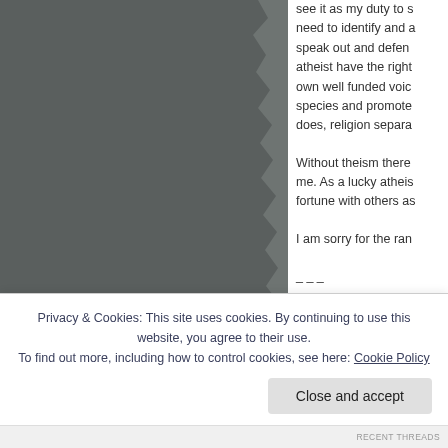[Figure (photo): Dark grey/slate colored image on the left side of the page, appears to be a partial photograph with a rough torn edge on the right side.]
see it as my duty to s... need to identify and a... speak out and defen... atheist have the right... own well funded voic... species and promote... does, religion separa...
Without theism there... me. As a lucky atheis... fortune with others as...
I am sorry for the ran...
Privacy & Cookies: This site uses cookies. By continuing to use this website, you agree to their use.
To find out more, including how to control cookies, see here: Cookie Policy
Close and accept
RECENT THREADS